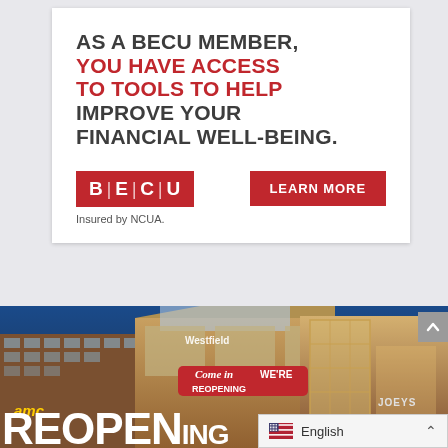AS A BECU MEMBER, YOU HAVE ACCESS TO TOOLS TO HELP IMPROVE YOUR FINANCIAL WELL-BEING.
[Figure (logo): BECU logo — white letters B, E, C, U separated by vertical bars on a red background rectangle]
Insured by NCUA.
LEARN MORE
[Figure (photo): Shopping mall exterior at dusk with AMC theater on left and glass-fronted buildings, featuring a red 'Come in WE'RE REOPENING' sign overlay, with JOEYS sign visible at right edge]
English